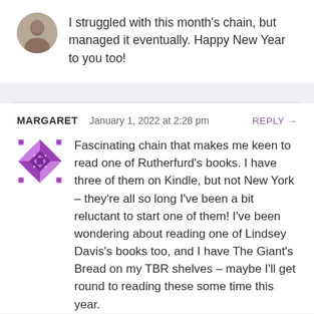I struggled with this month's chain, but managed it eventually. Happy New Year to you too!
MARGARET  January 1, 2022 at 2:28 pm  REPLY →
Fascinating chain that makes me keen to read one of Rutherfurd's books. I have three of them on Kindle, but not New York – they're all so long I've been a bit reluctant to start one of them! I've been wondering about reading one of Lindsey Davis's books too, and I have The Giant's Bread on my TBR shelves – maybe I'll get round to reading these some time this year.